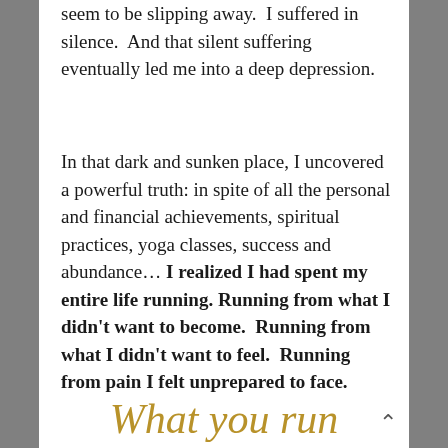seem to be slipping away.  I suffered in silence.  And that silent suffering eventually led me into a deep depression.
In that dark and sunken place, I uncovered a powerful truth: in spite of all the personal and financial achievements, spiritual practices, yoga classes, success and abundance… I realized I had spent my entire life running. Running from what I didn't want to become.  Running from what I didn't want to feel.  Running from pain I felt unprepared to face.
What you run